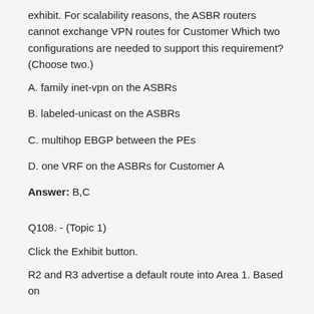exhibit. For scalability reasons, the ASBR routers cannot exchange VPN routes for Customer Which two configurations are needed to support this requirement? (Choose two.)
A. family inet-vpn on the ASBRs
B. labeled-unicast on the ASBRs
C. multihop EBGP between the PEs
D. one VRF on the ASBRs for Customer A
Answer: B,C
Q108.  - (Topic 1)
Click the Exhibit button.
R2 and R3 advertise a default route into Area 1. Based on